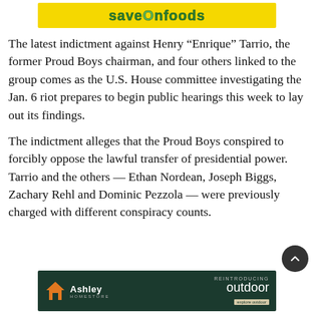[Figure (logo): Save-On-Foods advertisement banner with yellow background and green stylized text]
The latest indictment against Henry “Enrique” Tarrio, the former Proud Boys chairman, and four others linked to the group comes as the U.S. House committee investigating the Jan. 6 riot prepares to begin public hearings this week to lay out its findings.
The indictment alleges that the Proud Boys conspired to forcibly oppose the lawful transfer of presidential power. Tarrio and the others — Ethan Nordean, Joseph Biggs, Zachary Rehl and Dominic Pezzola — were previously charged with different conspiracy counts.
[Figure (logo): Ashley HomeStore advertisement banner with dark green background, orange house logo, and outdoor furniture promotion]